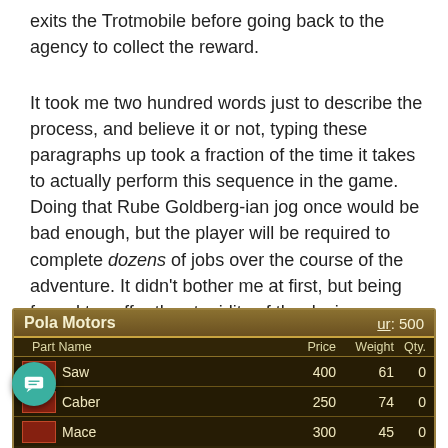exits the Trotmobile before going back to the agency to collect the reward.
It took me two hundred words just to describe the process, and believe it or not, typing these paragraphs up took a fraction of the time it takes to actually perform this sequence in the game. Doing that Rube Goldberg-ian jog once would be bad enough, but the player will be required to complete dozens of jobs over the course of the adventure. It didn't bother me at first, but being forced to suffer the stupidity of the design over and over and over again became a sick form of torture before long.
[Figure (screenshot): In-game shop screen for Pola Motors showing items: Saw (Price: 400, Weight: 61, Qty: 0), Caber (Price: 250, Weight: 74, Qty: 0), Mace (Price: 300, Weight: 45, Qty: 0). UR: 500.]